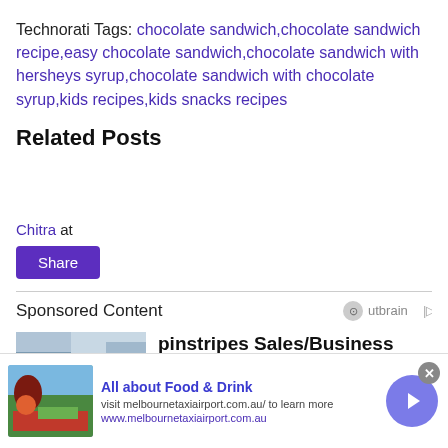Technorati Tags: chocolate sandwich,chocolate sandwich recipe,easy chocolate sandwich,chocolate sandwich with hersheys syrup,chocolate sandwich with chocolate syrup,kids recipes,kids snacks recipes
Related Posts
Chitra at
Share
Sponsored Content
[Figure (screenshot): Outbrain sponsored content logo]
[Figure (photo): Photo of interior/window scene for pinstripes jobs ad]
pinstripes Sales/Business Development Jobs in Ashburn
[Figure (photo): Ad banner image with food and wine]
All about Food & Drink
visit melbournetaxiairport.com.au/ to learn more
www.melbournetaxiairport.com.au